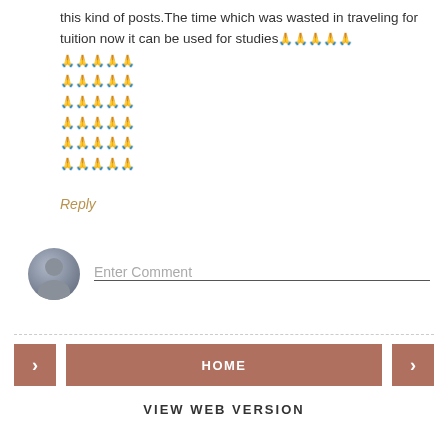this kind of posts.The time which was wasted in traveling for tuition now it can be used for studies🙏🙏🙏🙏🙏
🙏🙏🙏🙏🙏
🙏🙏🙏🙏🙏
🙏🙏🙏🙏🙏
🙏🙏🙏🙏🙏
🙏🙏🙏🙏🙏
🙏🙏🙏🙏🙏
Reply
Enter Comment
HOME
VIEW WEB VERSION